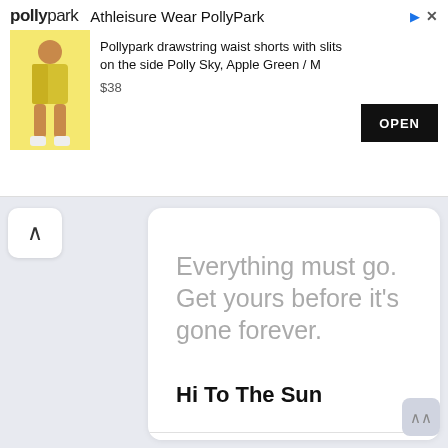[Figure (screenshot): Pollypark ad banner with logo, product image, and OPEN button]
Pollypark drawstring waist shorts with slits on the side Polly Sky, Apple Green / M
$38
OPEN
Everything must go. Get yours before it's gone forever.
Hi To The Sun
Open